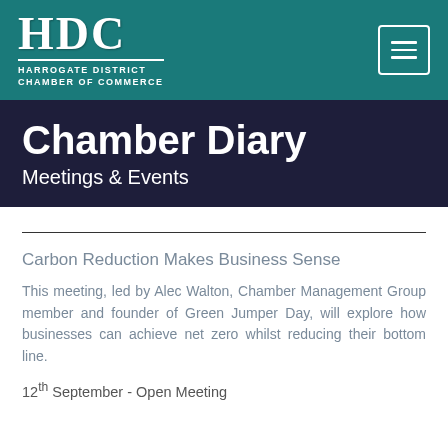HDC HARROGATE DISTRICT CHAMBER OF COMMERCE
Chamber Diary
Meetings & Events
Carbon Reduction Makes Business Sense
This meeting, led by Alec Walton, Chamber Management Group member and founder of Green Jumper Day, will explore how businesses can achieve net zero whilst reducing their bottom line.
12th September - Open Meeting